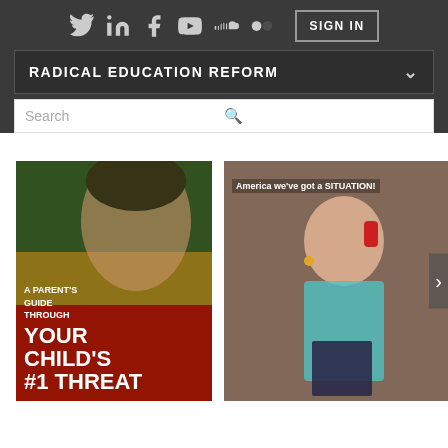Social icons: Twitter, LinkedIn, Facebook, YouTube, SoundCloud, Flickr | SIGN IN button
RADICAL EDUCATION REFORM
Search
[Figure (illustration): Book cover: 'A Parent's Guide Through YOUR CHILD'S #1 THREAT' with woman and child image over green, yellow, red background]
[Figure (photo): Woman in teal jacket sitting, holding red phone, with text overlay 'America we've got a SITUATION!']